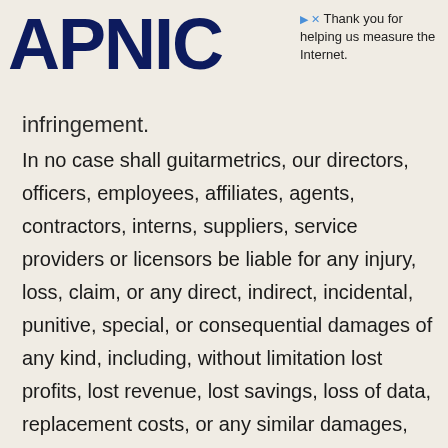APNIC
Thank you for helping us measure the Internet.
infringement.
In no case shall guitarmetrics, our directors, officers, employees, affiliates, agents, contractors, interns, suppliers, service providers or licensors be liable for any injury, loss, claim, or any direct, indirect, incidental, punitive, special, or consequential damages of any kind, including, without limitation lost profits, lost revenue, lost savings, loss of data, replacement costs, or any similar damages, whether based in contract, tort (including negligence), strict liability or otherwise, arising from your use of any of the service or any products procured using the service, or for any other claim related in any way to your use of the service or any product, including, but not limited to, any errors or omissions in any content, or any loss or damage of any kind incurred as a result of the use